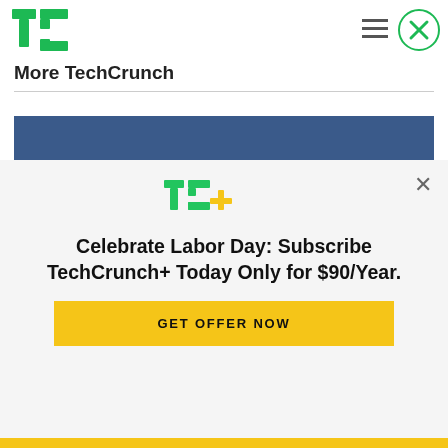TechCrunch
More TechCrunch
[Figure (photo): Hands pulling US dollar bills out of a dark leather wallet against a blue background]
[Figure (logo): TC+ logo in green and yellow on gray background]
Celebrate Labor Day: Subscribe TechCrunch+ Today Only for $90/Year.
GET OFFER NOW